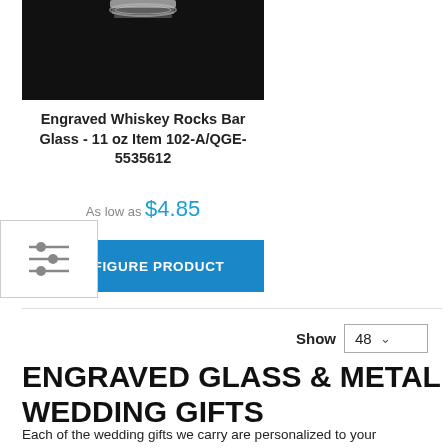[Figure (photo): Close-up photo of a glass tumbler (whiskey rocks bar glass) on a dark background, showing the top portion of the glass]
Engraved Whiskey Rocks Bar Glass - 11 oz Item 102-A/QGE-5535612
As low as $4.85
CONFIGURE PRODUCT
Show 48
ENGRAVED GLASS & METAL WEDDING GIFTS
Each of the wedding gifts we carry are personalized to your requirements, and ordering is easy with our step-by-step instructions. Our personalized glass wedding gifts can be engraved with your text, names, monogrammed initials, or you can engrave a